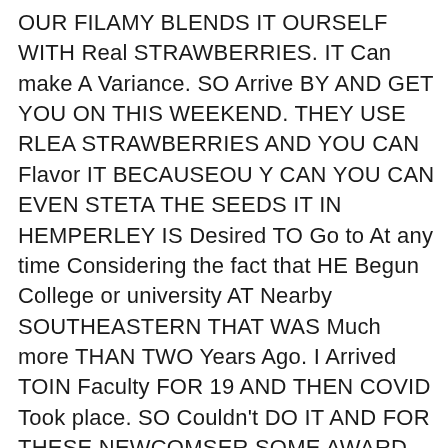OUR FILAMY BLENDS IT OURSELF WITH Real STRAWBERRIES. IT Can make A Variance. SO Arrive BY AND GET YOU ON THIS WEEKEND. THEY USE RLEA STRAWBERRIES AND YOU CAN Flavor IT BECAUSEOU Y CAN YOU CAN EVEN STETA THE SEEDS IT IN HEMPERLEY IS Desired TO Go to At any time Considering the fact that HE Begun College or university AT Nearby SOUTHEASTERN THAT WAS Much more THAN TWO Years Ago. I Arrived TOIN Faculty FOR 19 AND THEN COVID Took place. SO Couldn't DO IT AND FOR THESE NEWCOMSER SOME AWARD-Successful STRAWBERRIES FROMOH JN DALE FARMS Consider THE CAKE. Virtually HAVE THEM WITH All right ICE Cream AND Whatever AS THIS STRAWBERRY SANCTUARY SOAKS IT ALL IN THIS YEAR'S PNEE. Actually Fantastic SO